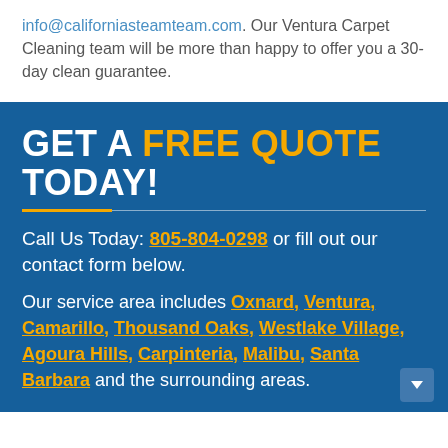info@californiasteamteam.com. Our Ventura Carpet Cleaning team will be more than happy to offer you a 30-day clean guarantee.
GET A FREE QUOTE TODAY!
Call Us Today: 805-804-0298 or fill out our contact form below.
Our service area includes Oxnard, Ventura, Camarillo, Thousand Oaks, Westlake Village, Agoura Hills, Carpinteria, Malibu, Santa Barbara and the surrounding areas.